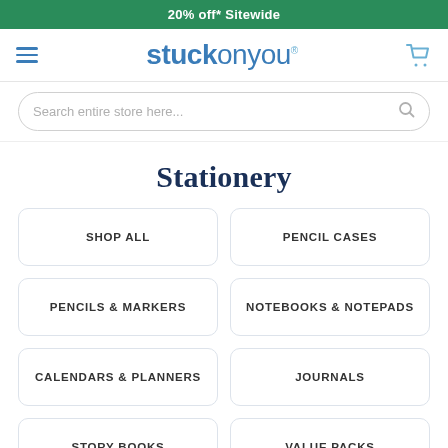20% off* Sitewide
[Figure (logo): stuckonyou logo with hamburger menu and cart icon]
Search entire store here...
Stationery
SHOP ALL
PENCIL CASES
PENCILS & MARKERS
NOTEBOOKS & NOTEPADS
CALENDARS & PLANNERS
JOURNALS
STORY BOOKS
VALUE PACKS